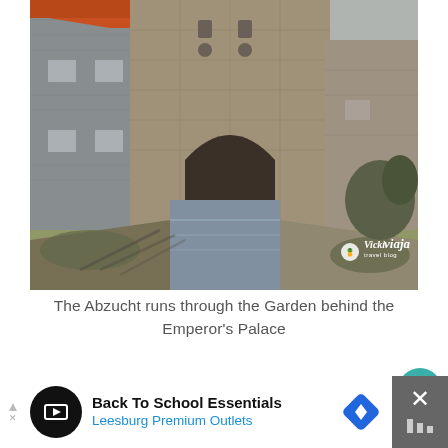[Figure (photo): A stone arch bridge over a narrow waterway (the Abzucht) with medieval stone buildings on either side. Orange tile roof visible top left, bare winter trees on the right. Watermark reads 'Vickiviaja travel blog' in bottom right corner.]
The Abzucht runs through the Garden behind the Emperor's Palace
[Figure (other): Teal circular like/heart button with count 729 below, and a share button below that]
[Figure (other): Advertisement bar: Back To School Essentials - Leesburg Premium Outlets]